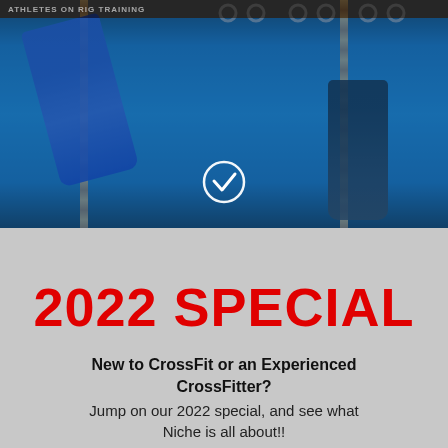[Figure (photo): CrossFit gym photo showing athletes climbing ropes on a blue rig with gymnastic rings overhead]
2022 SPECIAL
New to CrossFit or an Experienced CrossFitter?
Jump on our 2022 special, and see what Niche is all about!!